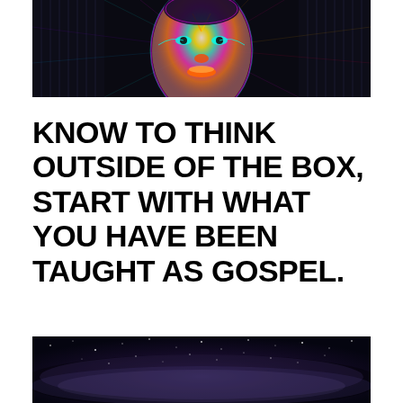[Figure (illustration): Colorful psychedelic digital artwork of a face with iridescent, neon-painted skin in rainbow tones against a dark geometric background with radiating light patterns]
KNOW TO THINK OUTSIDE OF THE BOX, START WITH WHAT YOU HAVE BEEN TAUGHT AS GOSPEL.
[Figure (photo): Dark night sky photograph showing the Milky Way galaxy with stars and a deep purple-black color palette]